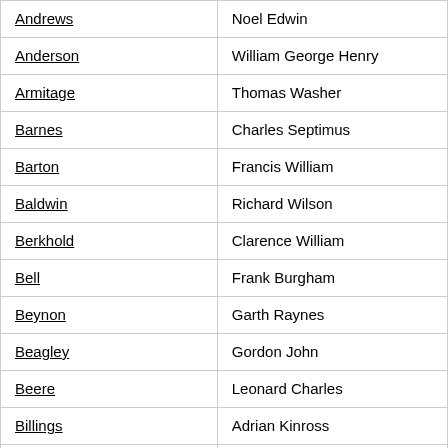| Surname | Given Names |
| --- | --- |
| Andrews | Noel Edwin |
| Anderson | William George Henry |
| Armitage | Thomas Washer |
| Barnes | Charles Septimus |
| Barton | Francis William |
| Baldwin | Richard Wilson |
| Berkhold | Clarence William |
| Bell | Frank Burgham |
| Beynon | Garth Raynes |
| Beagley | Gordon John |
| Beere | Leonard Charles |
| Billings | Adrian Kinross |